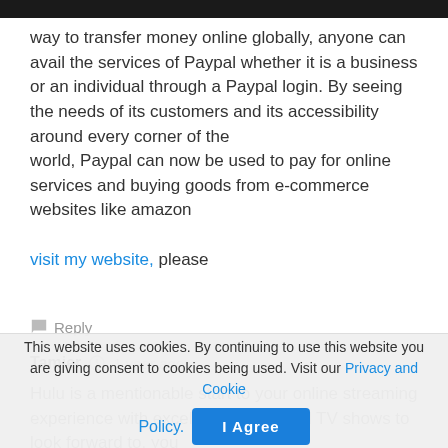way to transfer money online globally, anyone can avail the services of Paypal whether it is a business or an individual through a Paypal login. By seeing the needs of its customers and its accessibility around every corner of the world, Paypal can now be used to pay for online services and buying goods from e-commerce websites like amazon
visit my website, please
Reply
Tamier  1 year ago
Hulu is a mentionable start to your online streaming experience with excellent movies and TV shows to look forward to. you will
This website uses cookies. By continuing to use this website you are giving consent to cookies being used. Visit our Privacy and Cookie Policy.